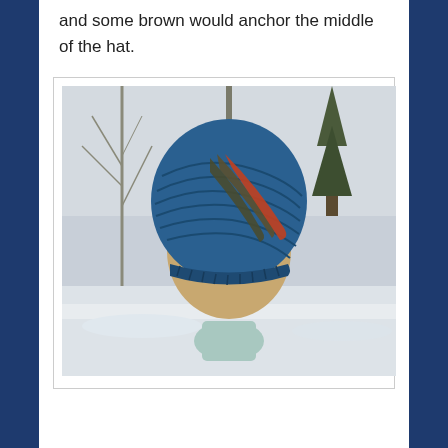and some brown would anchor the middle of the hat.
[Figure (photo): A blue knitted slouchy beanie hat with diagonal stripes of brown/olive and orange-red displayed on a mannequin head, with a snowy winter outdoor scene in the background.]